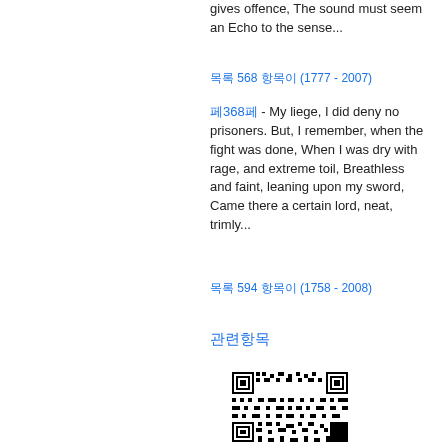gives offence, The sound must seem an Echo to the sense...
목록 568 항목이 (1777 - 2007)
페368페 - My liege, I did deny no prisoners. But, I remember, when the fight was done, When I was dry with rage, and extreme toil, Breathless and faint, leaning upon my sword, Came there a certain lord, neat, trimly...
목록 594 항목이 (1758 - 2008)
관련항목
[Figure (other): QR code]